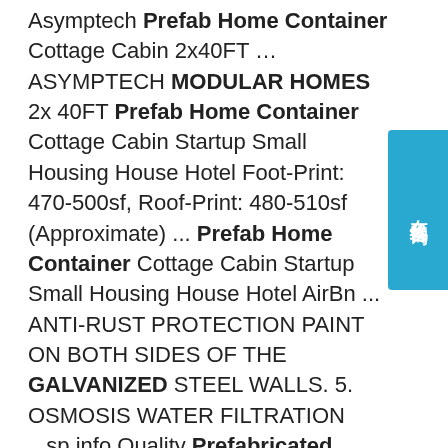Asymptech Prefab Home Container Cottage Cabin 2x40FT …ASYMPTECH MODULAR HOMES 2x 40FT Prefab Home Container Cottage Cabin Startup Small Housing House Hotel Foot-Print: 470-500sf, Roof-Print: 480-510sf (Approximate) ... Prefab Home Container Cottage Cabin Startup Small Housing House Hotel AirBn... ANTI-RUST PROTECTION PAINT ON BOTH SIDES OF THE GALVANIZED STEEL WALLS. 5. OSMOSIS WATER FILTRATION ...sp.info Quality Prefabricated Container House & Flat Pack ...Hebei Kayi Building Material Technology Co.,LTD is best Prefabricated Container House, Flat Pack Container House and Modular Container House supplier, we …sp.info Module-T: Modular ContainerMODULAR CONTAINER Our prefabricated container sets are designed for both demanding conditions of construction site and staff comfort. Module-t prefabricated construction site containers can be arranged as office, sanitary (wc and shower), dormitory, cloakroom, meeting...